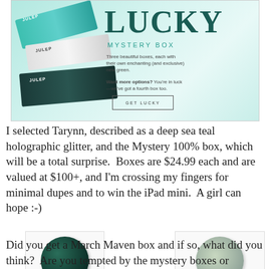[Figure (photo): Julep Lucky Mystery Box advertisement showing teal glitter nail polish, white nail polish, and dark nail polish products with text: LUCKY MYSTERY BOX - Three beautiful boxes, each with their own enchanting (and exclusive) new green. Want more options? You're in luck—we've got a fourth box too. GET LUCKY button.]
I selected Tarynn, described as a deep sea teal holographic glitter, and the Mystery 100% box, which will be a total surprise.  Boxes are $24.99 each and are valued at $100+, and I'm crossing my fingers for minimal dupes and to win the iPad mini.  A girl can hope :-)
[Figure (photo): Dark teal holographic glitter nail polish swatch circle on white background]
[Figure (photo): Light sage/green nail polish swatch circle on grey background]
Did you get a March Maven box and if so, what did you think?  Are you tempted by the mystery boxes or